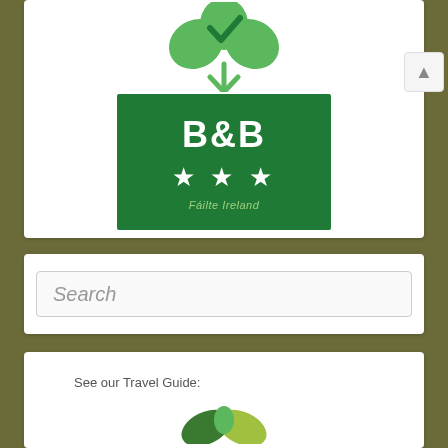[Figure (logo): Green shamrock/clover logo with a checkmark in the center leaf, on a white background]
[Figure (logo): Dark green rectangular badge showing 'B&B' in large white bold text, three white stars, and 'Fáilte Ireland' in light green italic text below]
[Figure (screenshot): Search input box with italic gray placeholder text 'Search' on a light background]
See our Travel Guide:
[Figure (logo): Partial green leaf/sprout logo visible at bottom of page]